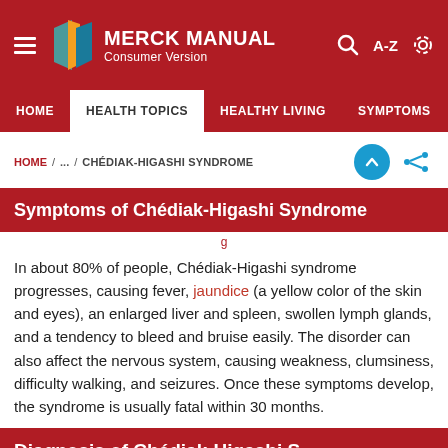MERCK MANUAL Consumer Version
HOME / ... / CHÉDIAK-HIGASHI SYNDROME
Symptoms of Chédiak-Higashi Syndrome
In about 80% of people, Chédiak-Higashi syndrome progresses, causing fever, jaundice (a yellow color of the skin and eyes), an enlarged liver and spleen, swollen lymph glands, and a tendency to bleed and bruise easily. The disorder can also affect the nervous system, causing weakness, clumsiness, difficulty walking, and seizures. Once these symptoms develop, the syndrome is usually fatal within 30 months.
Diagnosis of Chédiak-Higashi Syndrome